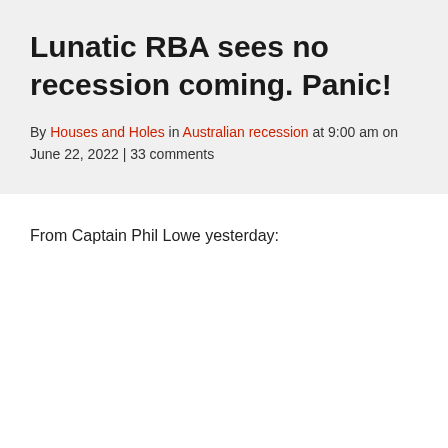Lunatic RBA sees no recession coming. Panic!
By Houses and Holes in Australian recession at 9:00 am on June 22, 2022 | 33 comments
From Captain Phil Lowe yesterday: